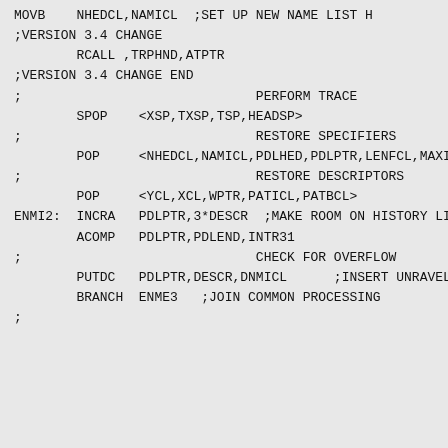MOVB    NHEDCL,NAMICL  ;SET UP NEW NAME LIST H
;VERSION 3.4 CHANGE
RCALL ,TRPHND,ATPTR
;VERSION 3.4 CHANGE END
;                              PERFORM TRACE
SPOP    <XSP,TXSP,TSP,HEADSP>
;                              RESTORE SPECIFIERS
POP     <NHEDCL,NAMICL,PDLHED,PDLPTR,LENFCL,MAXI
;                              RESTORE DESCRIPTORS
POP     <YCL,XCL,WPTR,PATICL,PATBCL>
ENMI2:  INCRA   PDLPTR,3*DESCR  ;MAKE ROOM ON HISTORY LI
ACOMP   PDLPTR,PDLEND,INTR31
;                              CHECK FOR OVERFLOW
PUTDC   PDLPTR,DESCR,DNMICL      ;INSERT UNRAVEL
BRANCH  ENME3   ;JOIN COMMON PROCESSING
;